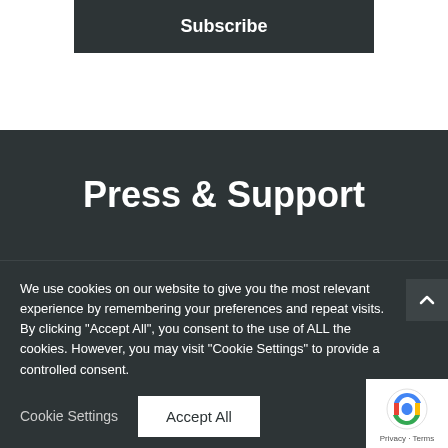Subscribe
Press & Support
We use cookies on our website to give you the most relevant experience by remembering your preferences and repeat visits. By clicking "Accept All", you consent to the use of ALL the cookies. However, you may visit "Cookie Settings" to provide a controlled consent.
Cookie Settings
Accept All